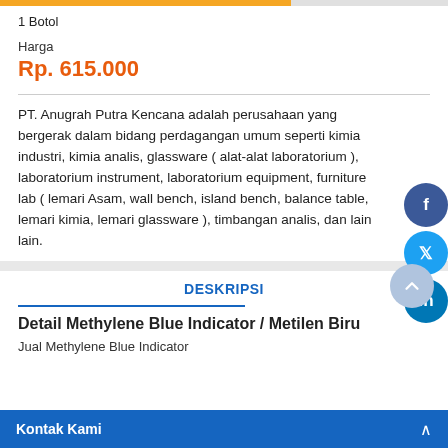1 Botol
Harga
Rp. 615.000
PT. Anugrah Putra Kencana adalah perusahaan yang bergerak dalam bidang perdagangan umum seperti kimia industri, kimia analis, glassware ( alat-alat laboratorium ), laboratorium instrument, laboratorium equipment, furniture lab ( lemari Asam, wall bench, island bench, balance table, lemari kimia, lemari glassware ), timbangan analis, dan lain lain.
DESKRIPSI
Detail Methylene Blue Indicator / Metilen Biru
Jual Methylene Blue Indicator
Kontak Kami